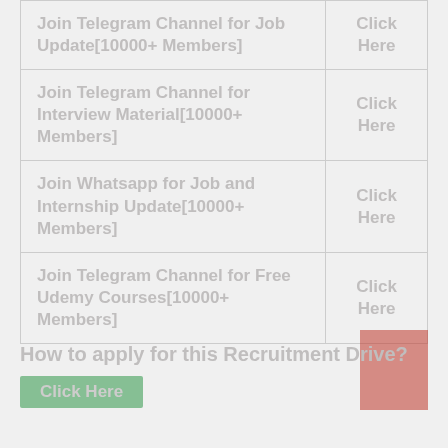|  |  |
| --- | --- |
| Join Telegram Channel for Job Update[10000+ Members] | Click Here |
| Join Telegram Channel for Interview Material[10000+ Members] | Click Here |
| Join Whatsapp for Job and Internship Update[10000+ Members] | Click Here |
| Join Telegram Channel for Free Udemy Courses[10000+ Members] | Click Here |
How to apply for this Recruitment Drive?
Click Here